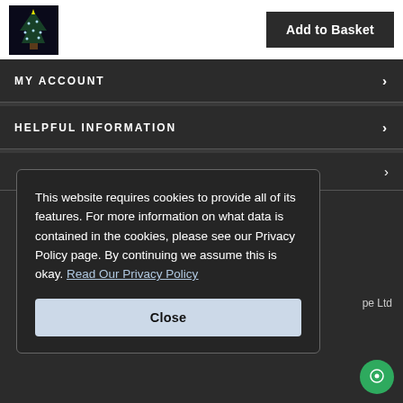[Figure (screenshot): Christmas tree product image thumbnail]
Add to Basket
MY ACCOUNT
HELPFUL INFORMATION
This website requires cookies to provide all of its features. For more information on what data is contained in the cookies, please see our Privacy Policy page. By continuing we assume this is okay. Read Our Privacy Policy
Close
pe Ltd